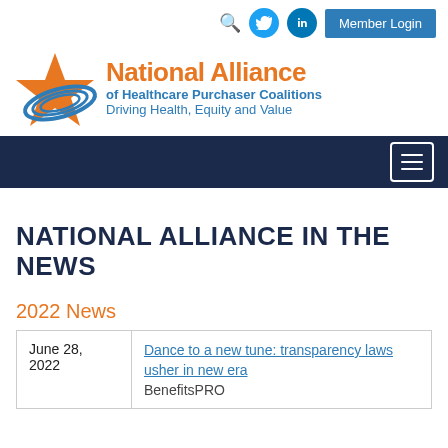National Alliance of Healthcare Purchaser Coalitions — Driving Health, Equity and Value
NATIONAL ALLIANCE IN THE NEWS
2022 News
| Date | Article |
| --- | --- |
| June 28, 2022 | Dance to a new tune: transparency laws usher in new era
BenefitsPRO |